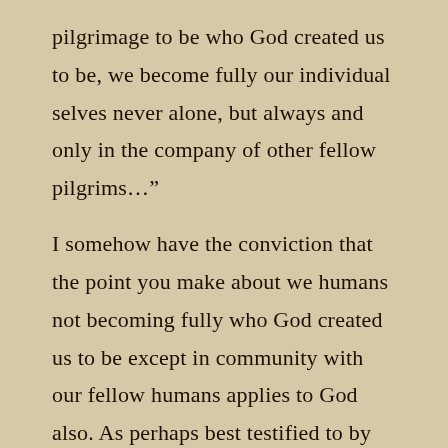pilgrimage to be who God created us to be, we become fully our individual selves never alone, but always and only in the company of other fellow pilgrims…”
I somehow have the conviction that the point you make about we humans not becoming fully who God created us to be except in community with our fellow humans applies to God also. As perhaps best testified to by the fact of Creation itself, God is not and cannot be wholly God outside of communion with Creation, and particularly, at least from our